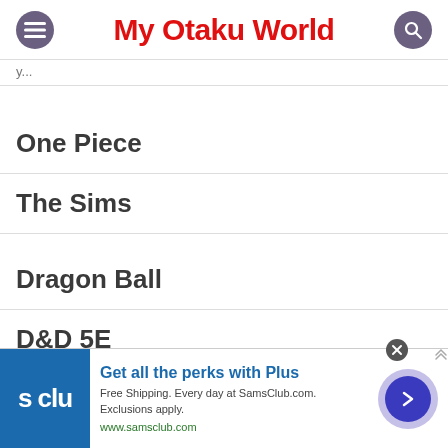My Otaku World
One Piece
The Sims
Dragon Ball
D&D 5E
[Figure (infographic): Sam's Club advertisement banner: 'Get all the perks with Plus. Free Shipping. Every day at SamsClub.com. Exclusions apply. www.samsclub.com']